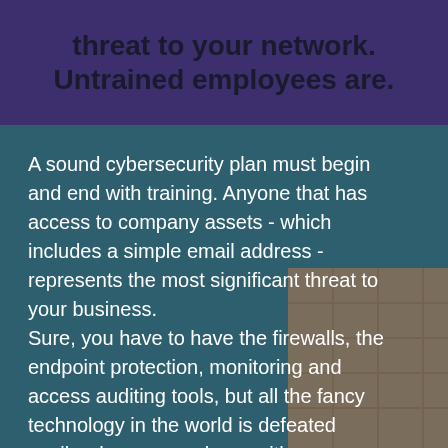threat to your network. Untrained employees are.
A sound cybersecurity plan must begin and end with training. Anyone that has access to company assets - which includes a simple email address - represents the most significant threat to your business.
Sure, you have to have the firewalls, the endpoint protection, monitoring and access auditing tools, but all the fancy technology in the world is defeated easily when an employee either knowingly or unknowingly